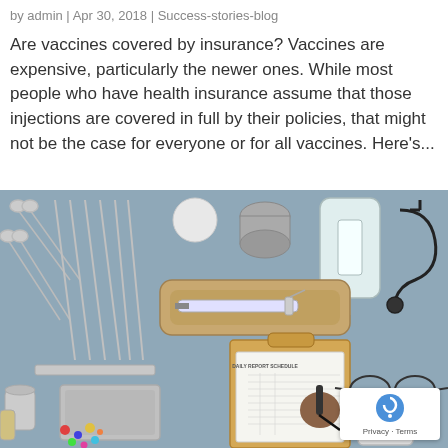by admin | Apr 30, 2018 | Success-stories-blog
Are vaccines covered by insurance? Vaccines are expensive, particularly the newer ones. While most people who have health insurance assume that those injections are covered in full by their policies, that might not be the case for everyone or for all vaccines. Here's...
[Figure (photo): Flat lay of medical tools and supplies on a blue-grey surface including scissors, scalpels, tweezers, syringe, bandage tray, IV bag, stethoscope, glasses, smartphone, pill organizer, colorful capsules, clipboard with daily report schedule, and a hand writing with a pen.]